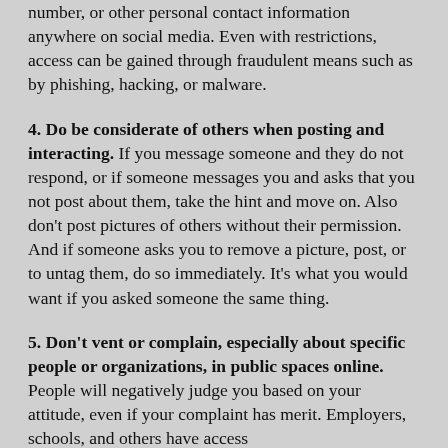number, or other personal contact information anywhere on social media. Even with restrictions, access can be gained through fraudulent means such as by phishing, hacking, or malware.
4. Do be considerate of others when posting and interacting. If you message someone and they do not respond, or if someone messages you and asks that you not post about them, take the hint and move on. Also don't post pictures of others without their permission. And if someone asks you to remove a picture, post, or to untag them, do so immediately. It's what you would want if you asked someone the same thing.
5. Don't vent or complain, especially about specific people or organizations, in public spaces online. People will negatively judge you based on your attitude, even if your complaint has merit. Employers, schools, and others have access